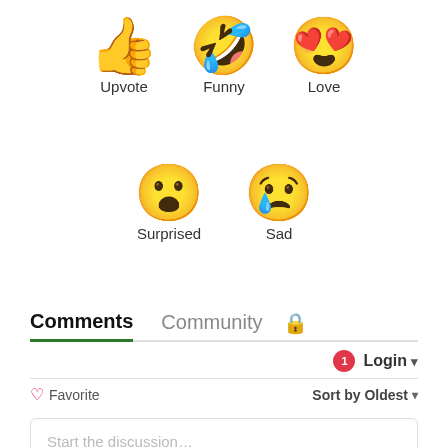[Figure (infographic): Row of three emoji icons with labels: thumbs up (Upvote), laughing face with tongue (Funny), heart eyes face (Love)]
[Figure (infographic): Row of two emoji icons with labels: surprised face (Surprised), crying/sad face (Sad)]
Comments  Community  🔒
🔴1  Login ▾
♡ Favorite    Sort by Oldest ▾
Start the discussion…
LOG IN WITH
[Figure (infographic): Four social login icons: Disqus (blue D), Facebook (dark blue f), Twitter (light blue bird), Google (red G)]